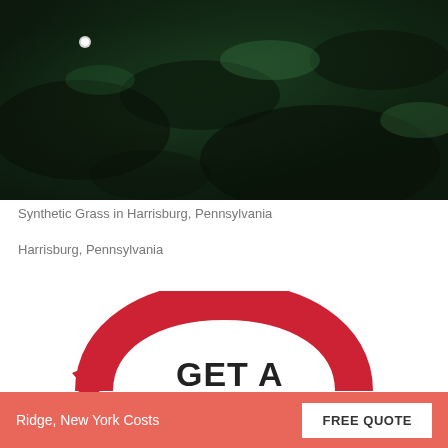[Figure (photo): Photo of synthetic grass in Harrisburg, Pennsylvania — dark green lawn with dappled light and shadows from trees overhead, a small white ball visible near the top left.]
Synthetic Grass in Harrisburg, Pennsylvania
Harrisburg, Pennsylvania
[Figure (illustration): Large red circular arrow (refresh/recycle style icon) with the text 'GET A' visible inside, partially cropped — part of a 'Get a Free Quote' call-to-action graphic.]
Ridge, New York Costs   FREE QUOTE